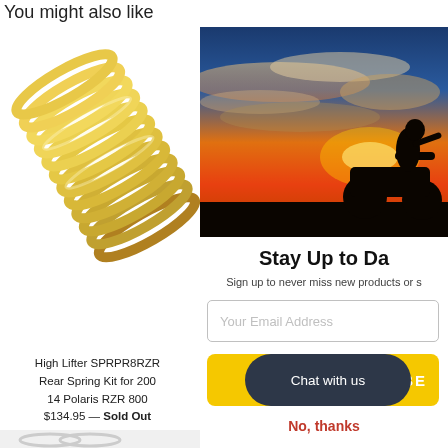You might also like
[Figure (photo): Gold/yellow coil spring product image on white background]
High Lifter SPRPR8RZR Rear Spring Kit for 2008-14 Polaris RZR 800
$134.95 — Sold Out
[Figure (photo): ATV rider silhouette against dramatic sunset sky with orange and blue clouds]
Stay Up to Da
Sign up to never miss new products or s
Your Email Address
Chat with us
RIBE
No, thanks
[Figure (photo): Second product image, partially visible in lower left]